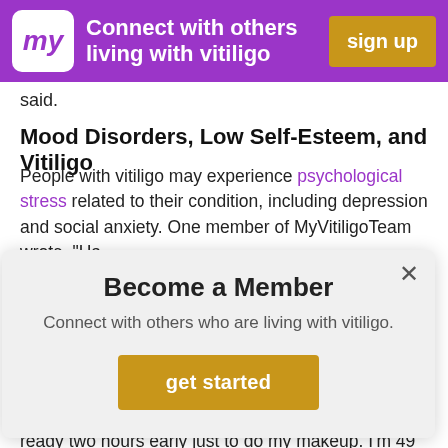[Figure (other): MyVitiligoTeam banner — purple background, 'my' logo in white box, tagline 'Connect with others living with vitiligo', gold 'sign up' button]
said.
Mood Disorders, Low Self-Esteem, and Vitiligo
People with vitiligo may experience psychological stress related to their condition, including depression and social anxiety. One member of MyVitiligoTeam wrote, "Having [vitiligo] affects my confidence a lot. ...I don't feel comfortable going out in public."
[Figure (other): Modal dialog: 'Become a Member — Connect with others who are living with vitiligo.' with a gold 'get started' button and an X close button]
go to work. I start at 11:30 am. I have to start getting ready two hours early just to do my makeup. I'm 49 years old. I never used makeup. Sometimes I feel OK. Other times I feel like I'm wearing a mask."